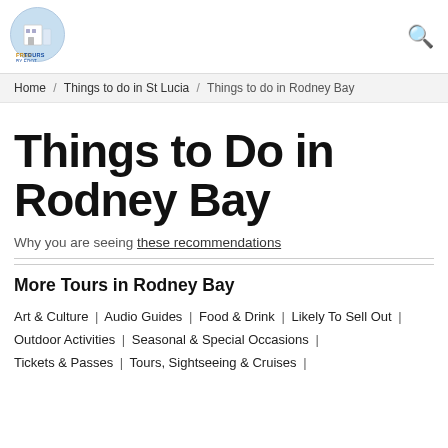[Figure (logo): Free Tours By Foot logo — circular blue/white icon with building illustration and orange/blue text]
Home / Things to do in St Lucia / Things to do in Rodney Bay
Things to Do in Rodney Bay
Why you are seeing these recommendations
More Tours in Rodney Bay
Art & Culture | Audio Guides | Food & Drink | Likely To Sell Out | Outdoor Activities | Seasonal & Special Occasions | Tickets & Passes | Tours, Sightseeing & Cruises |